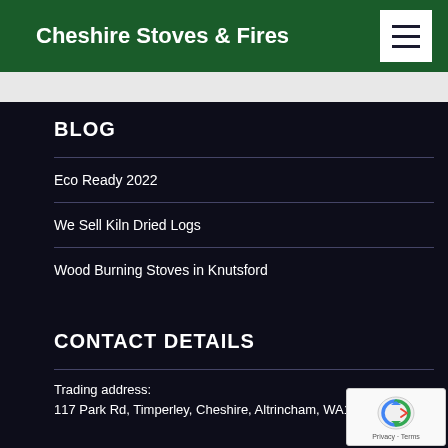Cheshire Stoves & Fires
BLOG
Eco Ready 2022
We Sell Kiln Dried Logs
Wood Burning Stoves in Knutsford
CONTACT DETAILS
Trading address:
117 Park Rd, Timperley, Cheshire, Altrincham, WA15